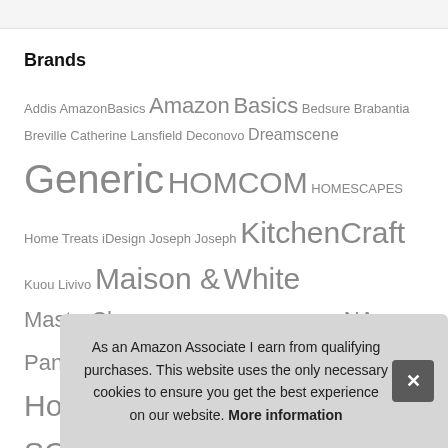Brands
Addis AmazonBasics Amazon Basics Bedsure Brabantia Breville Catherine Lansfield Deconovo Dreamscene Generic HOMCOM HOMESCAPES Home Treats iDesign Joseph Joseph Joseph KitchenCraft Kuou Livivo Maison & White MasterClass mDesign Morphy Richards N-A NA Outus Panana Philips Premier Housewares Rohi Russell Hobbs Silentnight Silverline Sleepdown SONGMICS Swan Tefal Tower UMI Utopia Bedding VAS... Yah...
As an Amazon Associate I earn from qualifying purchases. This website uses the only necessary cookies to ensure you get the best experience on our website. More information